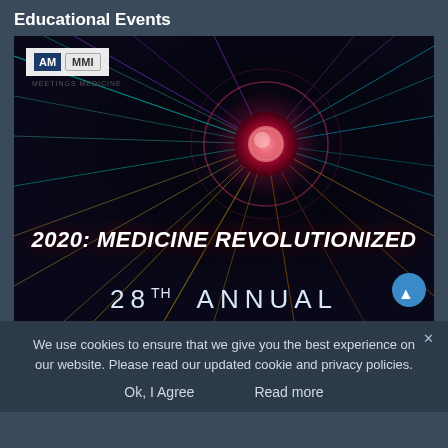Educational Events
[Figure (photo): Promotional image for '2020: Medicine Revolutionized - 28th Annual' conference event with AM MMI logo, colorful starburst particle effect background with a glowing red/pink central orb]
We use cookies to ensure that we give you the best experience on our website. Please read our updated cookie and privacy policies.
Ok, I Agree    Read more